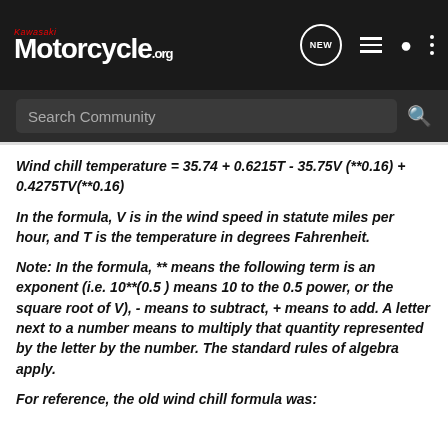Kawasaki Motorcycle.org
Wind chill temperature = 35.74 + 0.6215T - 35.75V (**0.16) + 0.4275TV(**0.16)
In the formula, V is in the wind speed in statute miles per hour, and T is the temperature in degrees Fahrenheit.
Note: In the formula, ** means the following term is an exponent (i.e. 10**(0.5 ) means 10 to the 0.5 power, or the square root of V), - means to subtract, + means to add. A letter next to a number means to multiply that quantity represented by the letter by the number. The standard rules of algebra apply.
For reference, the old wind chill formula was: